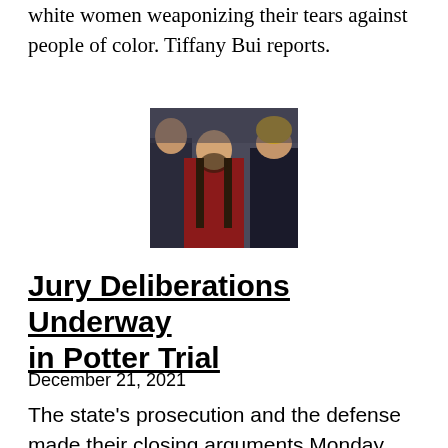white women weaponizing their tears against people of color. Tiffany Bui reports.
[Figure (photo): A woman in a red jacket with long dark hair looking downward, flanked by people in dark clothing, one wearing a yellow beanie.]
Jury Deliberations Underway in Potter Trial
December 21, 2021
The state's prosecution and the defense made their closing arguments Monday. Georgia Fort reports.